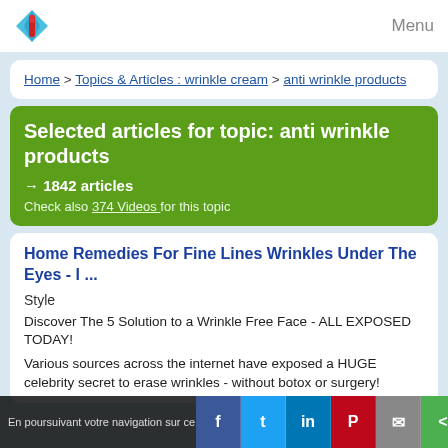Menu
Home > Topics & Articles : wrinkle cream > anti wrinkle products
Selected articles for topic: anti wrinkle products
→ 1842 articles
Check also 374 Videos for this topic
Home Remedies For Fine Lines Wrinkles Under The Eyes - l ...
Style
Discover The 5 Solution to a Wrinkle Free Face - ALL EXPOSED TODAY!
Various sources across the internet have exposed a HUGE celebrity secret to erase wrinkles - without botox or surgery!
En poursuivant votre navigation sur ce...